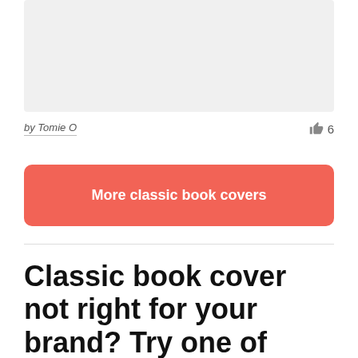[Figure (other): Gray placeholder image area at top of card]
by Tomie O
👍 6
More classic book covers
Classic book cover not right for your brand? Try one of these: